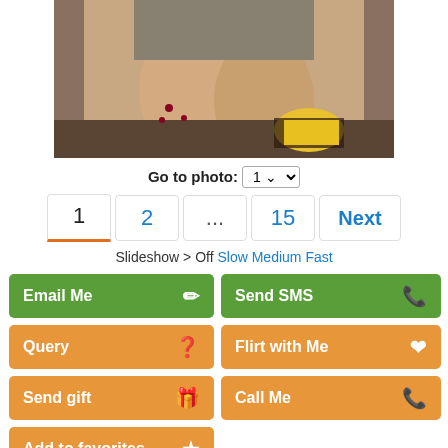[Figure (photo): Partial photo of a woman crouching, wearing colorful shoes, visible from knees down]
Go to photo: 1
1  2  ...  15  Next
Slideshow > Off Slow Medium Fast
Email Me
Send SMS
Query
Flirt with Me
Send gift
Call Me
Add to favorites
Age: 37
Date of birth: November 25, 1984